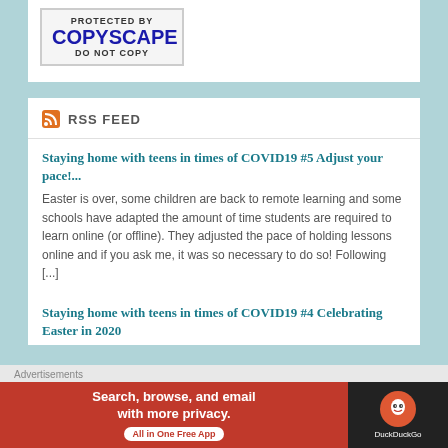[Figure (logo): Copyscape Protected badge with blue COPYSCAPE text and DO NOT COPY text]
RSS FEED
Staying home with teens in times of COVID19 #5 Adjust your pace!...
Easter is over, some children are back to remote learning and some schools have adapted the amount of time students are required to learn online (or offline). They adjusted the pace of holding lessons online and if you ask me, it was so necessary to do so! Following [...]
Staying home with teens in times of COVID19 #4 Celebrating Easter in 2020
[Figure (screenshot): DuckDuckGo advertisement banner: Search, browse, and email with more privacy. All in One Free App]
Advertisements